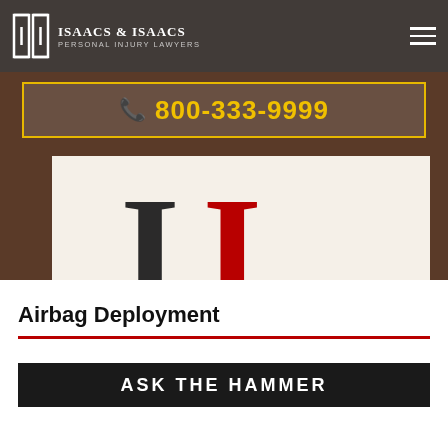Isaacs & Isaacs Personal Injury Lawyers
📞 800-333-9999
[Figure (logo): Isaacs & Isaacs law firm podcast logo with overlapping black and red serif letters II and text 'With Attorney Darryl Isaacs']
Airbag Deployment
[Figure (screenshot): ASK THE HAMMER banner in white text on dark background, partially visible at bottom of page]